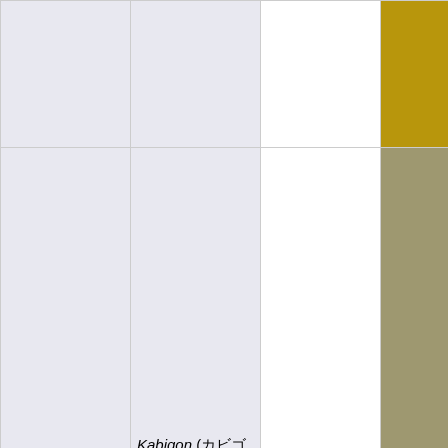| Name | Japanese Name | Number | Type 1 | Type 2 |
| --- | --- | --- | --- | --- |
| Snorlax | Kabigon (カビゴン) | 143 | Normal |  |